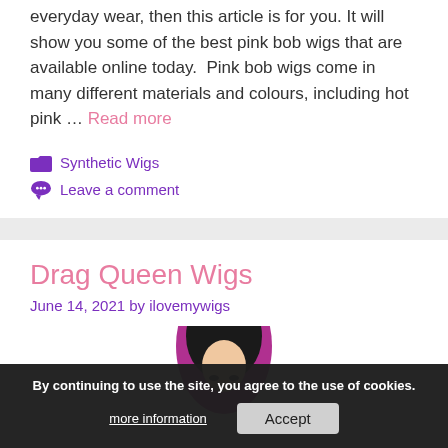everyday wear, then this article is for you. It will show you some of the best pink bob wigs that are available online today. Pink bob wigs come in many different materials and colours, including hot pink ... Read more
Synthetic Wigs
Leave a comment
Drag Queen Wigs
June 14, 2021 by ilovemywigs
[Figure (photo): Photo of a person with black and purple/pink long hair, bottom portion visible]
By continuing to use the site, you agree to the use of cookies.
more information   Accept